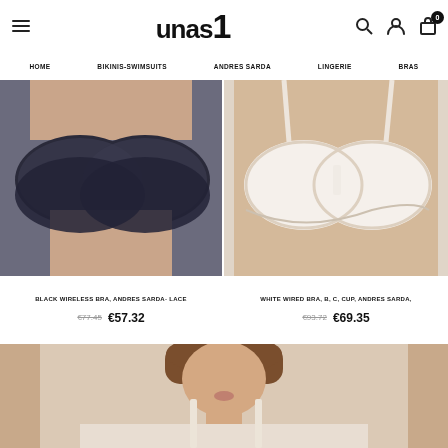unas1 — HOME | BIKINIS-SWIMSUITS | ANDRES SARDA | LINGERIE | BRAS
[Figure (photo): Cropped photo of woman wearing a black wireless lace bra (Andres Sarda)]
[Figure (photo): Cropped photo of woman wearing a white wired lace bra (Andres Sarda)]
BLACK WIRELESS BRA, ANDRES SARDA- LACE
€77.45  €57.32
WHITE WIRED BRA, B, C, CUP, ANDRES SARDA,
€93.72  €69.35
[Figure (photo): Large cropped photo of woman wearing a white/cream spaghetti strap bra or top, face visible, brown hair bob cut]